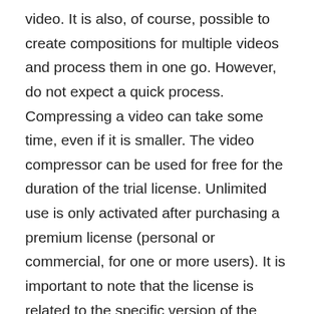video. It is also, of course, possible to create compositions for multiple videos and process them in one go. However, do not expect a quick process. Compressing a video can take some time, even if it is smaller. The video compressor can be used for free for the duration of the trial license. Unlimited use is only activated after purchasing a premium license (personal or commercial, for one or more users). It is important to note that the license is related to the specific version of the application. To move to a newer version of the app, you will be charged an upgrade license fee. By selecting one of these profiles, you can immediately make all the necessary settings to optimize your video for different devices and platforms, such as YouTube or Apple's iPhone.